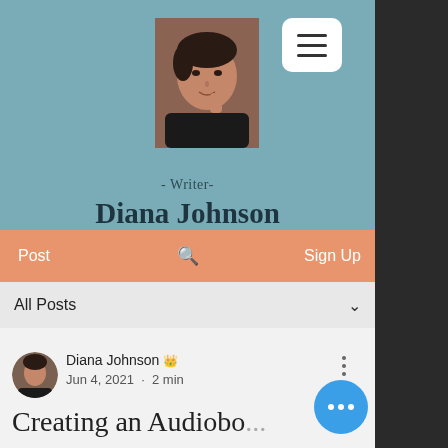[Figure (photo): Headshot photo of Diana Johnson, woman with dark short hair, resting hand near face, brick background]
- Writer-
Diana Johnson
Post  🔍  Sign Up
All Posts
[Figure (photo): Small circular avatar of Diana Johnson]
Diana Johnson 👑
Jun 4, 2021 · 2 min
Creating an Audiobo...